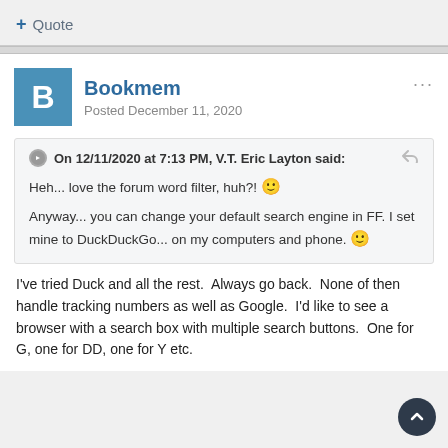+ Quote
Bookmem
Posted December 11, 2020
On 12/11/2020 at 7:13 PM, V.T. Eric Layton said:
Heh... love the forum word filter, huh?! 🙂
Anyway... you can change your default search engine in FF. I set mine to DuckDuckGo... on my computers and phone. 🙂
I've tried Duck and all the rest.  Always go back.  None of then handle tracking numbers as well as Google.  I'd like to see a browser with a search box with multiple search buttons.  One for G, one for DD, one for Y etc.